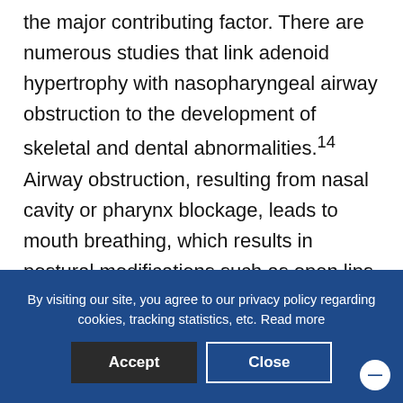the major contributing factor. There are numerous studies that link adenoid hypertrophy with nasopharyngeal airway obstruction to the development of skeletal and dental abnormalities.14 Airway obstruction, resulting from nasal cavity or pharynx blockage, leads to mouth breathing, which results in postural modifications such as open lips, lowered tongue position, anterior and posteroinferior rotation of the mandible, and a change in head posture. These modifications take place in an effort to stabilize the airway. As previously discussed, facial structures are modified by
By visiting our site, you agree to our privacy policy regarding cookies, tracking statistics, etc. Read more